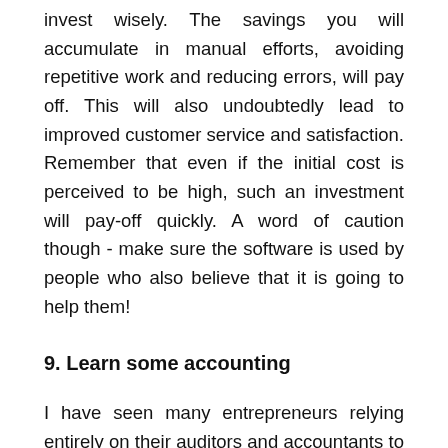invest wisely. The savings you will accumulate in manual efforts, avoiding repetitive work and reducing errors, will pay off. This will also undoubtedly lead to improved customer service and satisfaction. Remember that even if the initial cost is perceived to be high, such an investment will pay-off quickly. A word of caution though - make sure the software is used by people who also believe that it is going to help them!
9. Learn some accounting
I have seen many entrepreneurs relying entirely on their auditors and accountants to understand the financial performance of their company. that's their job and they are the experts no doubt, however, a basic but firm accounting knowledge is a must for every entrepreneur. Be aware of the